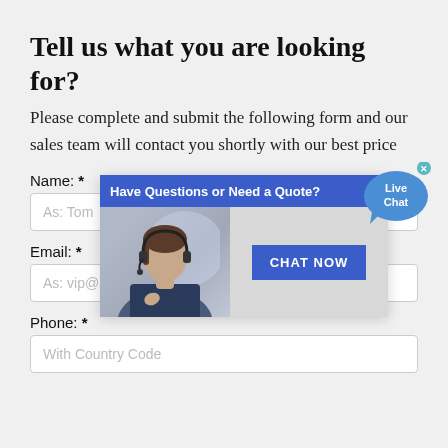Tell us what you are looking for?
Please complete and submit the following form and our sales team will contact you shortly with our best price
Name: *
As: Tom
[Figure (screenshot): Live chat popup widget with header 'Have Questions or Need a Quote?', a photo of a female customer service representative wearing a headset, and a blue 'CHAT NOW' button. A 'Live Chat' speech bubble widget appears in the top right corner.]
Email: *
As: vip@shanghaimeilan.com
Phone: *
With Country Code